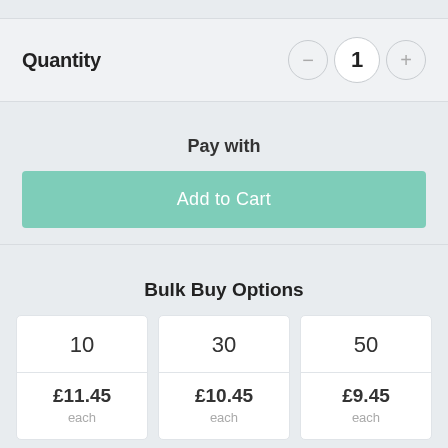Quantity
1
Pay with
Add to Cart
Bulk Buy Options
| 10 | 30 | 50 |
| --- | --- | --- |
| £11.45 each | £10.45 each | £9.45 each |
Select quantities above for bulk buy options